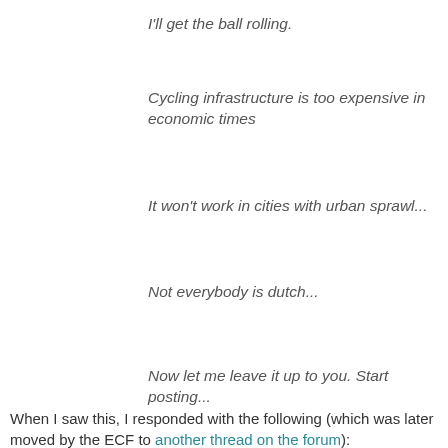I'll get the ball rolling.
Cycling infrastructure is too expensive in economic times
It won't work in cities with urban sprawl...
Not everybody is dutch...
Now let me leave it up to you. Start posting...
When I saw this, I responded with the following (which was later moved by the ECF to another thread on the forum):